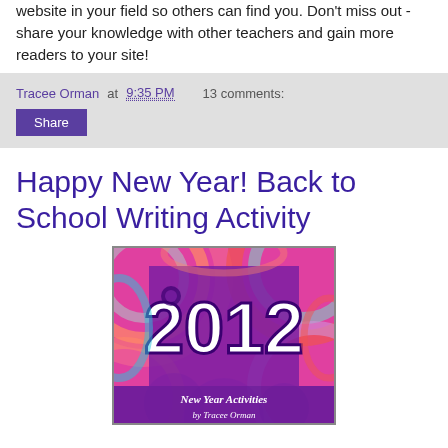website in your field so others can find you. Don't miss out - share your knowledge with other teachers and gain more readers to your site!
Tracee Orman at 9:35 PM   13 comments:
Share
Happy New Year! Back to School Writing Activity
[Figure (illustration): Colorful psychedelic image showing '2012' in large decorative white and purple text with swirling multicolored background. Text at bottom reads 'New Year Activities by Tracee Orman'.]